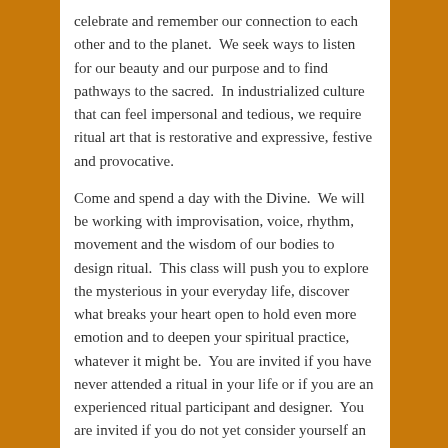celebrate and remember our connection to each other and to the planet.  We seek ways to listen for our beauty and our purpose and to find pathways to the sacred.  In industrialized culture that can feel impersonal and tedious, we require ritual art that is restorative and expressive, festive and provocative.
Come and spend a day with the Divine.  We will be working with improvisation, voice, rhythm, movement and the wisdom of our bodies to design ritual.  This class will push you to explore the mysterious in your everyday life, discover what breaks your heart open to hold even more emotion and to deepen your spiritual practice, whatever it might be.  You are invited if you have never attended a ritual in your life or if you are an experienced ritual participant and designer.  You are invited if you do not yet consider yourself an artist or if you have spent many years honing the tools of your art.  You are invited to open your body, mind and spirit